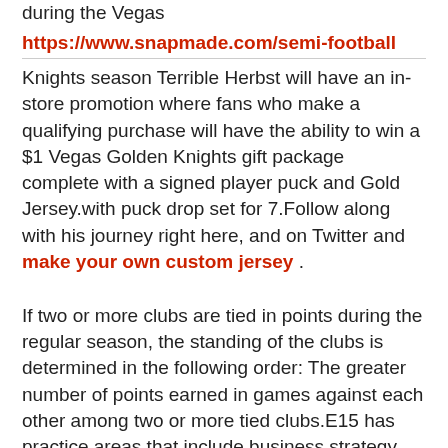during the Vegas
https://www.snapmade.com/semi-football
Knights season Terrible Herbst will have an in-store promotion where fans who make a qualifying purchase will have the ability to win a $1 Vegas Golden Knights gift package complete with a signed player puck and Gold Jersey.with puck drop set for 7.Follow along with his journey right here, and on Twitter and make your own custom jersey .
If two or more clubs are tied in points during the regular season, the standing of the clubs is determined in the following order: The greater number of points earned in games against each other among two or more tied clubs.E15 has practice areas that include business strategy, experience strategy, consumer insights, data science and next generation technology.They're doing something for such a great cause, raising so